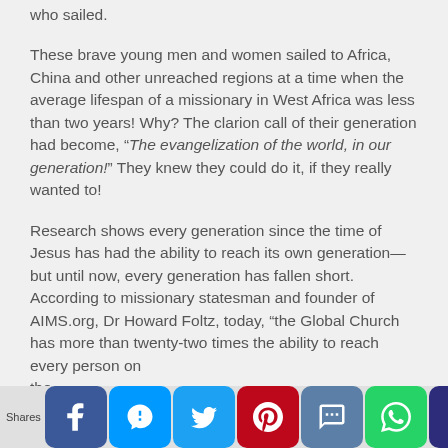who sailed.
These brave young men and women sailed to Africa, China and other unreached regions at a time when the average lifespan of a missionary in West Africa was less than two years! Why? The clarion call of their generation had become, “The evangelization of the world, in our generation!” They knew they could do it, if they really wanted to!
Research shows every generation since the time of Jesus has had the ability to reach its own generation—but until now, every generation has fallen short. According to missionary statesman and founder of AIMS.org, Dr Howard Foltz, today, “the Global Church has more than twenty-two times the ability to reach every person on the the...